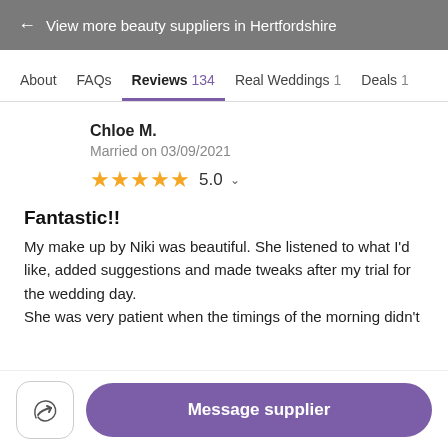← View more beauty suppliers in Hertfordshire
About  FAQs  Reviews 134  Real Weddings 1  Deals 1
Chloe M.
Married on 03/09/2021
★★★★★ 5.0
Fantastic!!
My make up by Niki was beautiful. She listened to what I'd like, added suggestions and made tweaks after my trial for the wedding day.
She was very patient when the timings of the morning didn't
Message supplier